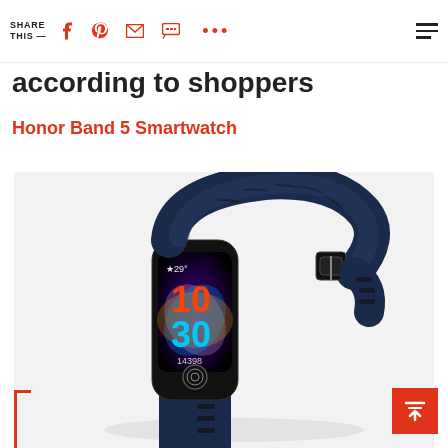SHARE THIS —
according to shoppers
Honor Band 5 Smartwatch
[Figure (photo): Honor Band 5 Smartwatch in navy blue, showing colorful watch face with time 10:30, step count 14398, and fingerprint sensor button. The fitness tracker has a textured silicone band with a buckle clasp.]